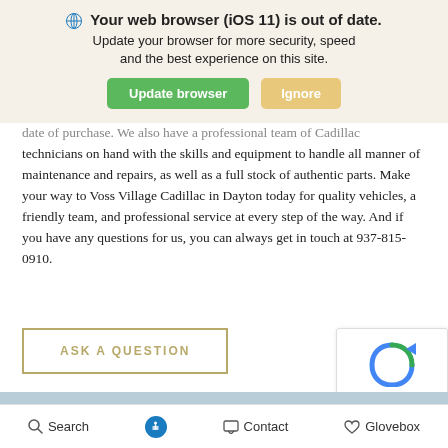[Figure (screenshot): Browser update notification banner with globe icon, bold text 'Your web browser (iOS 11) is out of date.', subtitle text, green 'Update browser' button and tan 'Ignore' button]
date of purchase. We also have a professional team of Cadillac technicians on hand with the skills and equipment to handle all manner of maintenance and repairs, as well as a full stock of authentic parts. Make your way to Voss Village Cadillac in Dayton today for quality vehicles, a friendly team, and professional service at every step of the way. And if you have any questions for us, you can always get in touch at 937-815-0910.
ASK A QUESTION
[Figure (other): Google reCAPTCHA widget with blue circular arrow icon and Privacy - Terms text]
Search   [accessibility icon]   Contact   Glovebox